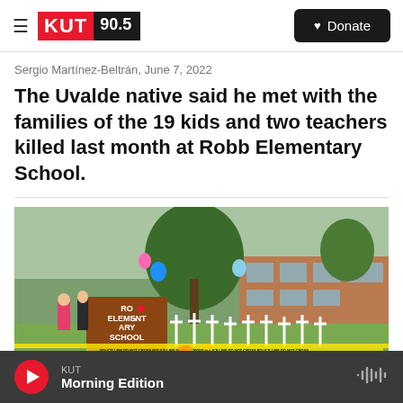KUT 90.5 — Donate
Sergio Martínez-Beltrán, June 7, 2022
The Uvalde native said he met with the families of the 19 kids and two teachers killed last month at Robb Elementary School.
[Figure (photo): A memorial outside Robb Elementary School with white crosses, flowers, balloons, and police tape barriers. People stand near the school sign which reads 'ROBB ELEMENTARY SCHOOL'. A barricade with orange stripes is visible in the foreground.]
KUT — Morning Edition